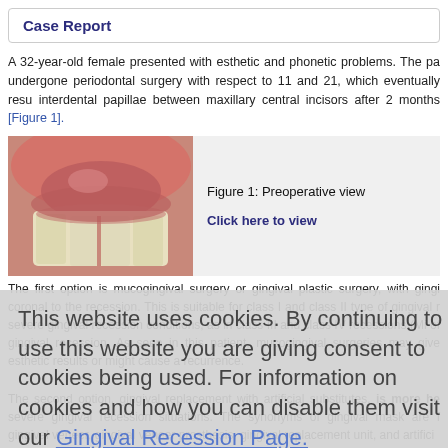Case Report
A 32-year-old female presented with esthetic and phonetic problems. The pa undergone periodontal surgery with respect to 11 and 21, which eventually resu interdental papillae between maxillary central incisors after 2 months [Figure 1].
[Figure (photo): Preoperative view of patient's upper front teeth showing gingival recession/missing interdental papillae]
Figure 1: Preoperative view
Click here to view
The first option is mucogingival surgery or gingival plastic surgery, with gingi coronal to the recession. This is suitable for class I and class II type of gingival r severe gingival recession conditions, as in class III and class IV recessions (Mi of gingival recession. As seen in this patient, mucogingival surgeries may give esthetic results or might cause a recurrence.
This website uses cookies. By continuing to use this website you are giving consent to cookies being used. For information on cookies and how you can disable them visit our Gingival Recession Page.
AGREE & PROCEED
The second option, gingival replacement with artificial substitutes, is more he severe gingival recession situations. The synonyms of gingival mask are f gingival veneer, gingival veneer prosthesis, gingival replacement unit, and artifici